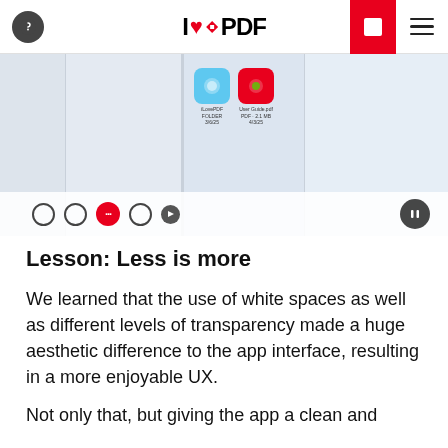I ♥ PDF
[Figure (screenshot): App interface screenshot showing multiple panels with file icons (iLovePDF folder icon, User Guide pdf icon), toolbar with action buttons including a red active button, and a pause button]
Lesson: Less is more
We learned that the use of white spaces as well as different levels of transparency made a huge aesthetic difference to the app interface, resulting in a more enjoyable UX.
Not only that, but giving the app a clean and